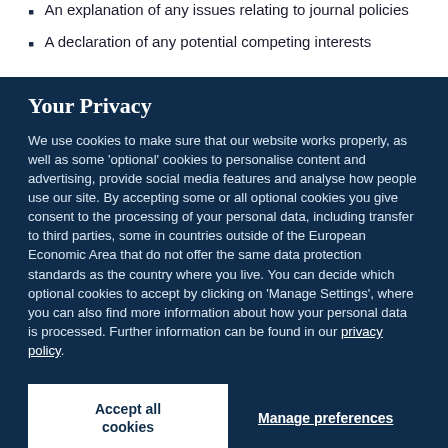An explanation of any issues relating to journal policies
A declaration of any potential competing interests
Your Privacy
We use cookies to make sure that our website works properly, as well as some 'optional' cookies to personalise content and advertising, provide social media features and analyse how people use our site. By accepting some or all optional cookies you give consent to the processing of your personal data, including transfer to third parties, some in countries outside of the European Economic Area that do not offer the same data protection standards as the country where you live. You can decide which optional cookies to accept by clicking on 'Manage Settings', where you can also find more information about how your personal data is processed. Further information can be found in our privacy policy.
Accept all cookies
Manage preferences